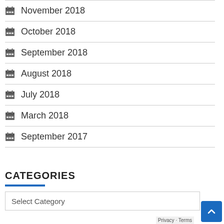November 2018
October 2018
September 2018
August 2018
July 2018
March 2018
September 2017
CATEGORIES
Select Category